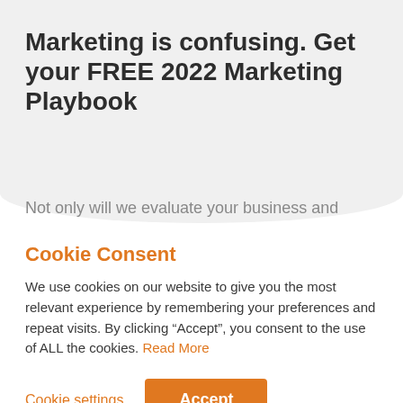Marketing is confusing. Get your FREE 2022 Marketing Playbook
Not only will we evaluate your business and
Cookie Consent
We use cookies on our website to give you the most relevant experience by remembering your preferences and repeat visits. By clicking “Accept”, you consent to the use of ALL the cookies. Read More
Cookie settings   Accept